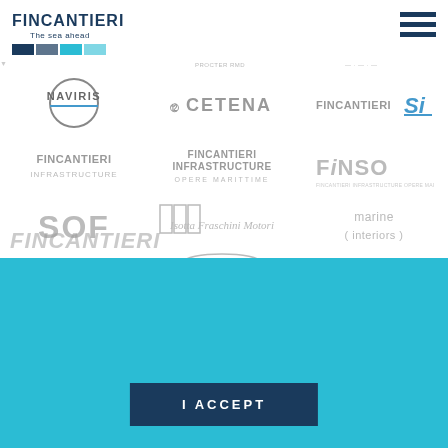[Figure (logo): Fincantieri logo with tagline 'The sea ahead' and colored bars]
[Figure (infographic): Grid of company logos: Naviris, Cetena, Fincantieri SI, Fincantieri Infrastructure, Fincantieri Infrastructure Opere Marittime, Finso, SOF, Isotta Fraschini Motori, marine interiors, marine interiors cabins, Orizzonte Sistemi Navali, Fincantieri Yachts]
In accordance with the EU Cookie Directive (2009/136/CE) and the General Data Protection Regulation - GDPR (EU 2016/679), we inform you that this Website employs cookies.  Further information
I ACCEPT